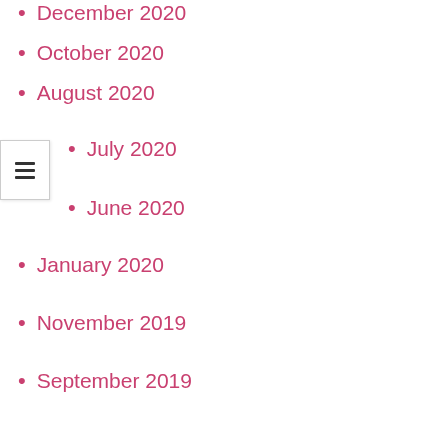December 2020
October 2020
August 2020
July 2020
June 2020
January 2020
November 2019
September 2019
July 2019
June 2019
May 2019
December 2018
October 2018
August 2018
March 2018
July 2017
January 2017
December 2015
June 2014